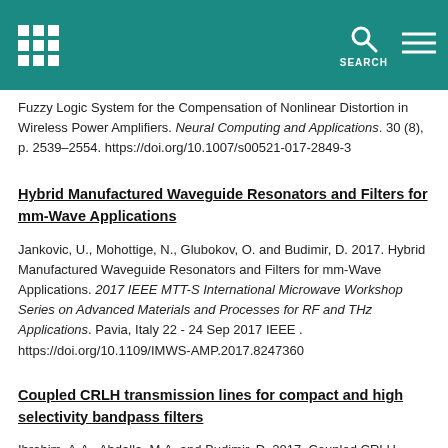[University logo] SEARCH [menu icon]
Fuzzy Logic System for the Compensation of Nonlinear Distortion in Wireless Power Amplifiers. Neural Computing and Applications. 30 (8), p. 2539–2554. https://doi.org/10.1007/s00521-017-2849-3
Hybrid Manufactured Waveguide Resonators and Filters for mm-Wave Applications
Jankovic, U., Mohottige, N., Glubokov, O. and Budimir, D. 2017. Hybrid Manufactured Waveguide Resonators and Filters for mm-Wave Applications. 2017 IEEE MTT-S International Microwave Workshop Series on Advanced Materials and Processes for RF and THz Applications. Pavia, Italy 22 - 24 Sep 2017 IEEE . https://doi.org/10.1109/IMWS-AMP.2017.8247360
Coupled CRLH transmission lines for compact and high selectivity bandpass filters
Ibrahim, A.A., Abdalla, M.A. and Budimir, D. 2017. Coupled CRLH transmission lines for compact and high selectivity bandpass